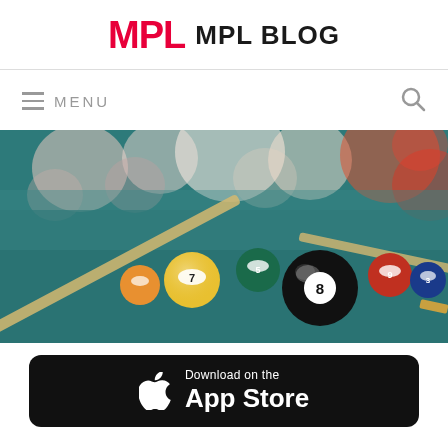MPL MPL BLOG
≡ MENU
[Figure (photo): Pool/billiards table with billiard balls including the 8-ball in foreground, cue sticks, and bokeh lights in background]
[Figure (screenshot): Download on the App Store button (black rounded rectangle with Apple logo)]